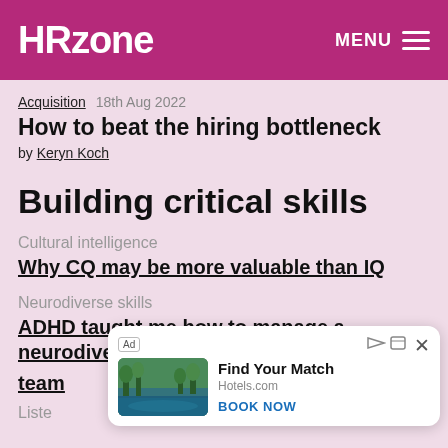HRzone  MENU
Acquisition  18th Aug 2022
How to beat the hiring bottleneck
by Keryn Koch
Building critical skills
Cultural intelligence
Why CQ may be more valuable than IQ
Neurodiverse skills
ADHD taught me how to manage a neurodiverse team
Listen
[Figure (other): Hotels.com advertisement overlay: 'Find Your Match' with a photo of a lakeside hotel, 'BOOK NOW' call-to-action button, close button (X).]